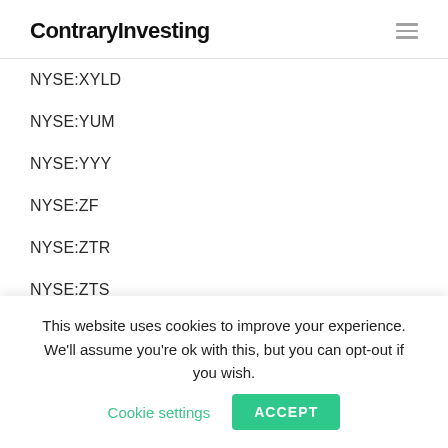ContraryInvesting
NYSE:XYLD
NYSE:YUM
NYSE:YYY
NYSE:ZF
NYSE:ZTR
NYSE:ZTS
NYSEPNOBL
OHI
Oil
This website uses cookies to improve your experience. We'll assume you're ok with this, but you can opt-out if you wish.
Cookie settings
ACCEPT